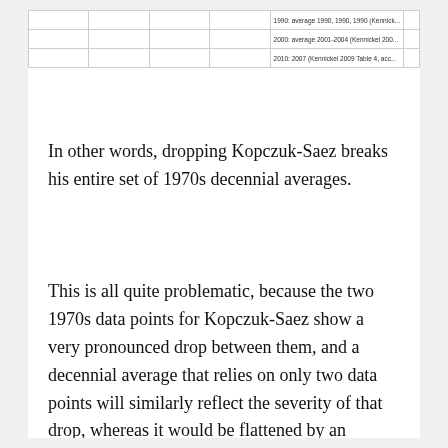|  |  |  |  | 1990: average 1990, 1990, 1990 (Kennick... |  |
|  |  |  |  | 2000: average 2001-2004 (Kennickel 200... |  |
|  |  |  |  | 2010: 2007 (Kennickel 2009 Table 4, acc... |  |
In other words, dropping Kopczuk-Saez breaks his entire set of 1970s decennial averages.
This is all quite problematic, because the two 1970s data points for Kopczuk-Saez show a very pronounced drop between them, and a decennial average that relies on only two data points will similarly reflect the severity of that drop, whereas it would be flattened by an average taken from ten full data points, as with previous years. You can readily see both the drop and the paucity of 1970s data vis-a-vis other decades in the graph